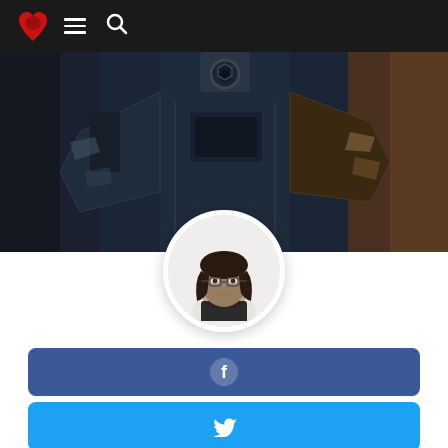[Figure (screenshot): Website navigation bar with red heart/world logo, hamburger menu icon, and search icon on dark background]
[Figure (photo): Hero banner showing a close-up of dark mechanical/robotic machinery parts with industrial texture]
[Figure (illustration): Circular profile avatar showing a cartoon/illustrated woman with glasses and dark hair, on white circle background]
[Figure (infographic): Facebook share button - blue rounded rectangle with white Facebook 'f' circle icon]
[Figure (infographic): Twitter share button - light blue rounded rectangle with white Twitter bird icon]
[Figure (infographic): Pinterest share button - red rounded rectangle with white Pinterest 'P' icon]